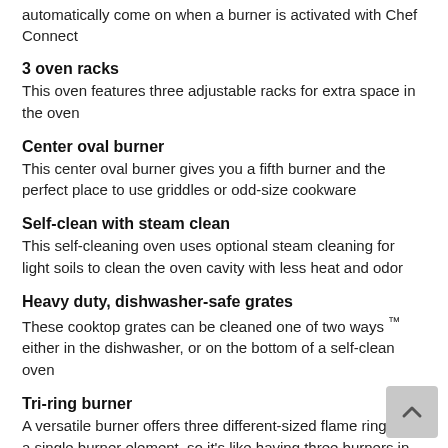automatically come on when a burner is activated with Chef Connect
3 oven racks
This oven features three adjustable racks for extra space in the oven
Center oval burner
This center oval burner gives you a fifth burner and the perfect place to use griddles or odd-size cookware
Self-clean with steam clean
This self-cleaning oven uses optional steam cleaning for light soils to clean the oven cavity with less heat and odor
Heavy duty, dishwasher-safe grates
These cooktop grates can be cleaned one of two ways ™ either in the dishwasher, or on the bottom of a self-clean oven
Tri-ring burner
A versatile burner offers three different-sized flame rings on a single burner element, so it's like having three burners in one
Built-In WiFi Powered by SmartHQ App